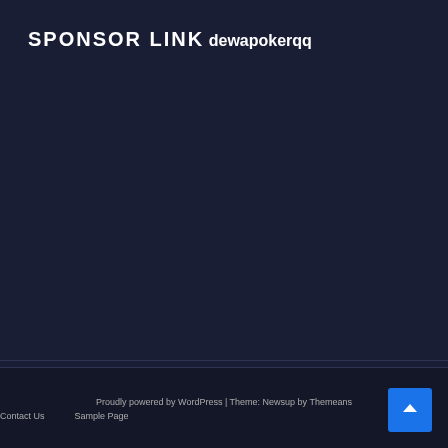SPONSOR LINK
dewapokerqq
[Figure (logo): POKER logo with a red spade suit icon in the letter O, dark background, stylized text reading POKER with smaller text below]
Proudly powered by WordPress | Theme: Newsup by Themeans
Contact Us   Sample Page